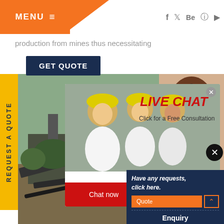[Figure (screenshot): Website header with orange MENU button on left, hamburger icon, social media icons (f, t, Be, Pinterest, YouTube) on right, orange triangle shape]
production from mines thus necessitating
GET QUOTE
REQUEST A QUOTE
[Figure (photo): Mining/construction scene with heavy machinery and conveyor belts]
[Figure (screenshot): Live Chat popup with workers in yellow hard hats, LIVE CHAT heading in red italic, 'Click for a Free Consultation' text, Chat now (red) and Chat later (dark) buttons, close X button]
[Figure (photo): Customer service agent woman smiling with headset]
Have any requests, click here.
Quote
Enquiry
drobilkalm